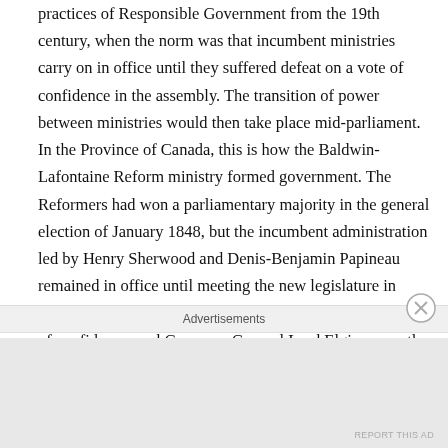practices of Responsible Government from the 19th century, when the norm was that incumbent ministries carry on in office until they suffered defeat on a vote of confidence in the assembly. The transition of power between ministries would then take place mid-parliament. In the Province of Canada, this is how the Baldwin-Lafontaine Reform ministry formed government. The Reformers had won a parliamentary majority in the general election of January 1848, but the incumbent administration led by Henry Sherwood and Denis-Benjamin Papineau remained in office until meeting the new legislature in March 1848. The Sherwood-Papineau ministry lost a vote of confidence, and Governor General Lord Elgin promptly appointed Baldwin and Lafontaine to
Advertisements